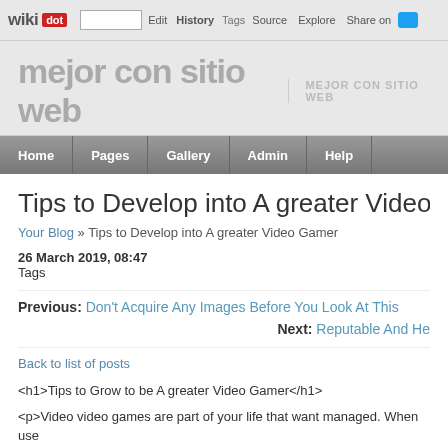wikidot | site | Edit | History | Tags | Source | Explore | Share on [Twitter]
mejor con sitio web | MEJOR CON SITIO WEB
Home | Pages | Gallery | Admin | Help
Tips to Develop into A greater Video Gamer
Your Blog » Tips to Develop into A greater Video Gamer
26 March 2019, 08:47
Tags
Previous: Don't Acquire Any Images Before You Look At This
Next: Reputable And He…
Back to list of posts
<h1>Tips to Grow to be A greater Video Gamer</h1>
<p>Video video games are part of your life that want managed. When use… of starting point. When left unchecked, they'll start to crowd out of f…